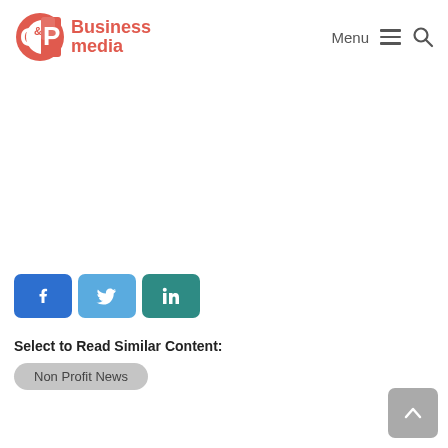C&P Business media — Menu [hamburger] [search]
[Figure (logo): C&P Business Media logo with red stylized letters and 'Business media' text]
[Figure (other): Social share buttons: Facebook (blue), Twitter (light blue), LinkedIn (teal)]
Select to Read Similar Content:
Non Profit News